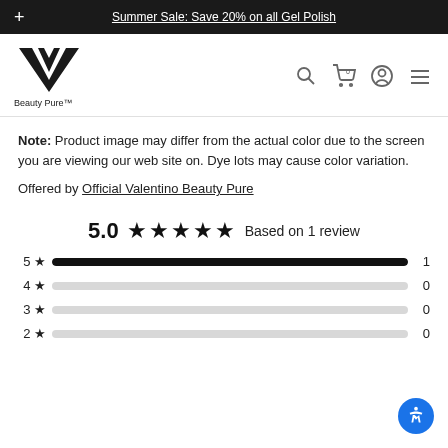Summer Sale: Save 20% on all Gel Polish
[Figure (logo): Valentino Beauty Pure logo — stylized V mark with Beauty Pure text below]
Note: Product image may differ from the actual color due to the screen you are viewing our web site on. Dye lots may cause color variation.
Offered by Official Valentino Beauty Pure
5.0 ★★★★★ Based on 1 review
[Figure (bar-chart): Rating distribution]